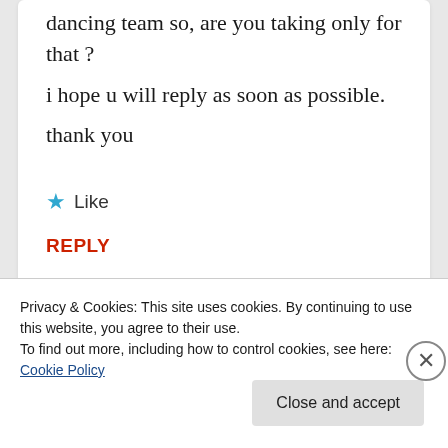dancing team so, are you taking only for that ?

i hope u will reply as soon as possible.

thank you
★ Like
REPLY
Privacy & Cookies: This site uses cookies. By continuing to use this website, you agree to their use.
To find out more, including how to control cookies, see here: Cookie Policy
Close and accept